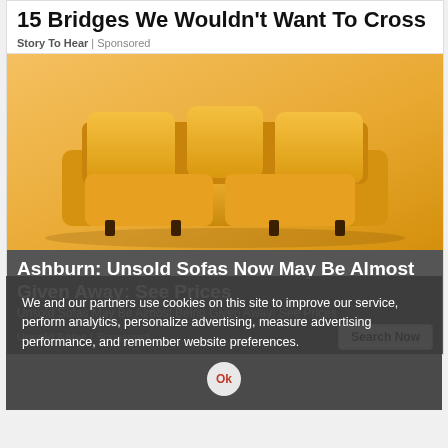15 Bridges We Wouldn't Want To Cross
Story To Hear | Sponsored
[Figure (photo): Yellow/golden sofa on a warm orange-yellow background, product advertisement photo]
Ashburn: Unsold Sofas Now May Be Almost Given Away: See Prices
Unsold Sofas May Be Almost Being Given Away: See Prices
Unsold Sofas | Sponsored
We and our partners use cookies on this site to improve our service, perform analytics, personalize advertising, measure advertising performance, and remember website preferences.